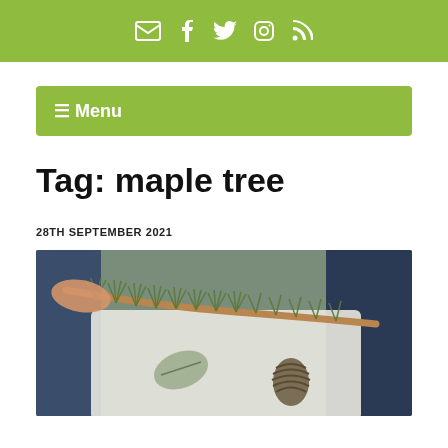✉ f t ⊙ )))
☰ Menu
Tag: maple tree
28TH SEPTEMBER 2021
[Figure (photo): A child's hand holding a pine/spruce branch over a white card that also has a leaf and a pine cone on it. Dark navy sleeve visible in background.]